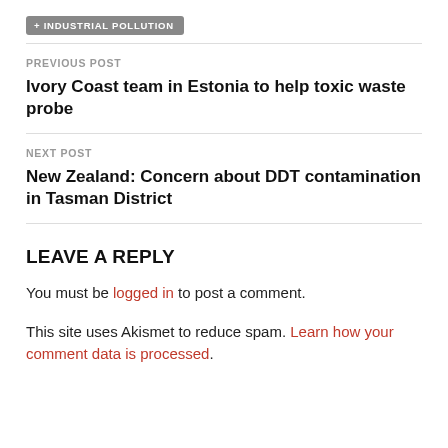INDUSTRIAL POLLUTION
PREVIOUS POST
Ivory Coast team in Estonia to help toxic waste probe
NEXT POST
New Zealand: Concern about DDT contamination in Tasman District
LEAVE A REPLY
You must be logged in to post a comment.
This site uses Akismet to reduce spam. Learn how your comment data is processed.